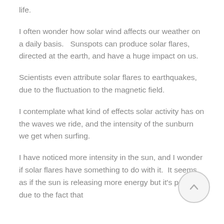life.
I often wonder how solar wind affects our weather on a daily basis.   Sunspots can produce solar flares, directed at the earth, and have a huge impact on us.
Scientists even attribute solar flares to earthquakes, due to the fluctuation to the magnetic field.
I contemplate what kind of effects solar activity has on the waves we ride, and the intensity of the sunburn we get when surfing.
I have noticed more intensity in the sun, and I wonder if solar flares have something to do with it.  It seems as if the sun is releasing more energy but it's probably due to the fact that